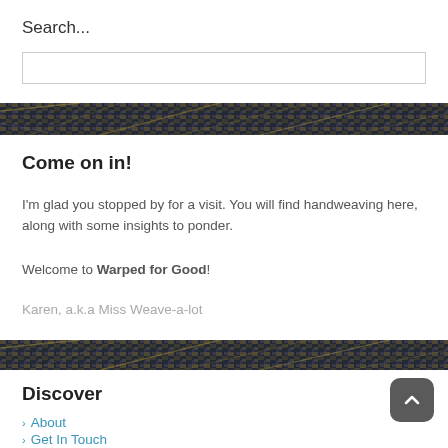Search...
[Figure (other): Search input text box]
[Figure (photo): Woven fabric texture banner - dark blue and gold tones]
Come on in!
I'm glad you stopped by for a visit. You will find handweaving here, along with some insights to ponder.
Welcome to Warped for Good!
Karen, a.k.a Miss Weave-a-lot
[Figure (photo): Woven fabric texture banner - dark blue and gold tones]
Discover
About
Get In Touch
Privacy Polic...